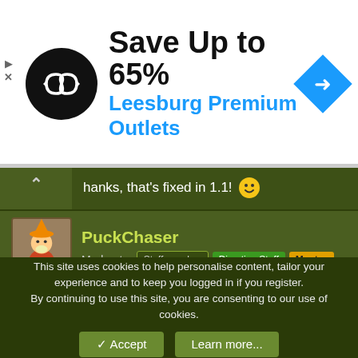[Figure (infographic): Advertisement banner: black circle logo with infinity arrows icon, text 'Save Up to 65%' and 'Leesburg Premium Outlets' in blue, blue diamond navigation arrow icon on right]
Thanks, that's fixed in 1.1! 🙂
PuckChaser
Moderator | Staff member | Directing Staff | Mentor
30 Apr 2012   #14
Mike Bobbitt said:
Possible yes, but my time estimate says no. 🙂
This site uses cookies to help personalise content, tailor your experience and to keep you logged in if you register.
By continuing to use this site, you are consenting to our use of cookies.
✓ Accept   Learn more...